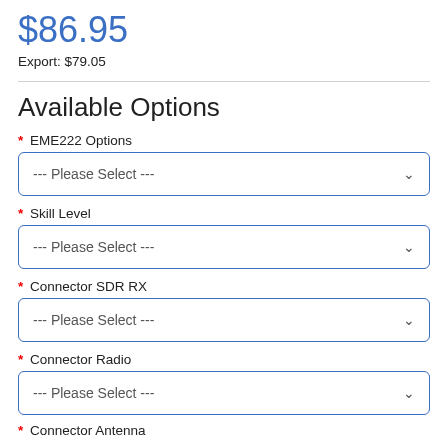$86.95
Export: $79.05
Available Options
* EME222 Options
--- Please Select ---
* Skill Level
--- Please Select ---
* Connector SDR RX
--- Please Select ---
* Connector Radio
--- Please Select ---
* Connector Antenna